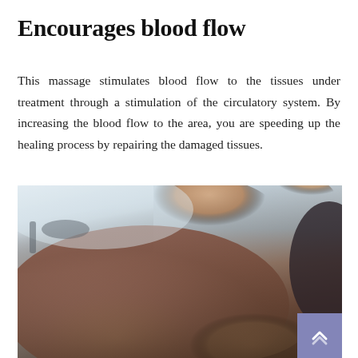Encourages blood flow
This massage stimulates blood flow to the tissues under treatment through a stimulation of the circulatory system. By increasing the blood flow to the area, you are speeding up the healing process by repairing the damaged tissues.
[Figure (photo): A therapist performing a deep tissue or sports massage on a patient's upper back and shoulder area. The therapist's hands are pressing into the patient's back. The patient is lying face down on a massage table.]